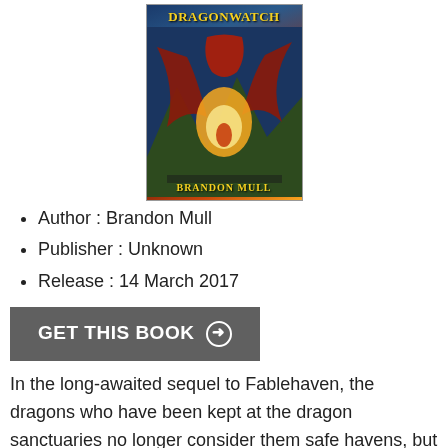[Figure (illustration): Book cover of Dragonwatch by Brandon Mull, showing a dragon and fire imagery with the title in gold letters and author name at the bottom]
Author : Brandon Mull
Publisher : Unknown
Release : 14 March 2017
GET THIS BOOK →
In the long-awaited sequel to Fablehaven, the dragons who have been kept at the dragon sanctuaries no longer consider them safe havens, but prisons and they want their freedom. The dragons are no longer our allies, not the hidden dragon owners of